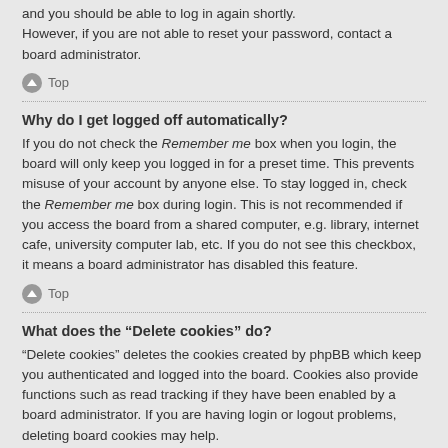and you should be able to log in again shortly. However, if you are not able to reset your password, contact a board administrator.
Top
Why do I get logged off automatically?
If you do not check the Remember me box when you login, the board will only keep you logged in for a preset time. This prevents misuse of your account by anyone else. To stay logged in, check the Remember me box during login. This is not recommended if you access the board from a shared computer, e.g. library, internet cafe, university computer lab, etc. If you do not see this checkbox, it means a board administrator has disabled this feature.
Top
What does the “Delete cookies” do?
“Delete cookies” deletes the cookies created by phpBB which keep you authenticated and logged into the board. Cookies also provide functions such as read tracking if they have been enabled by a board administrator. If you are having login or logout problems, deleting board cookies may help.
Top